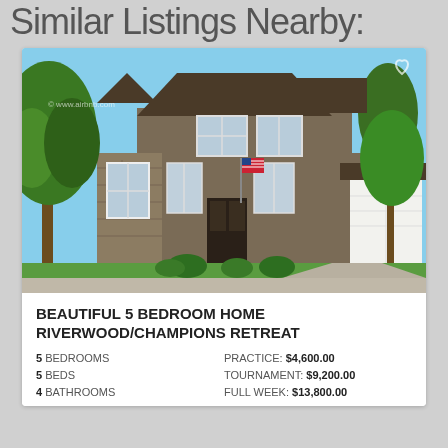Similar Listings Nearby:
[Figure (photo): Exterior photo of a large two-story brown/gray craftsman-style home with stone accents, white-trimmed windows, an American flag, large trees, green lawn, and a white garage door on the right side. Blue sky visible above.]
BEAUTIFUL 5 BEDROOM HOME RIVERWOOD/CHAMPIONS RETREAT
5 BEDROOMS	 PRACTICE: $4,600.00
5 BEDS	 TOURNAMENT: $9,200.00
4 BATHROOMS	 FULL WEEK: $13,800.00